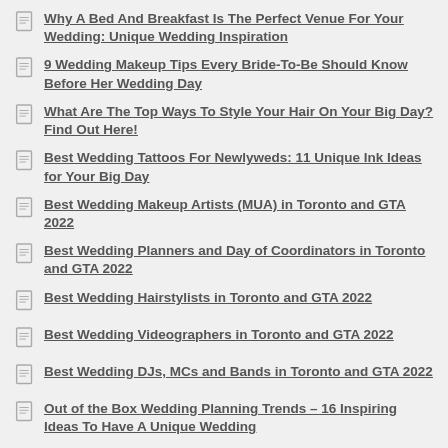Why A Bed And Breakfast Is The Perfect Venue For Your Wedding: Unique Wedding Inspiration
9 Wedding Makeup Tips Every Bride-To-Be Should Know Before Her Wedding Day
What Are The Top Ways To Style Your Hair On Your Big Day? Find Out Here!
Best Wedding Tattoos For Newlyweds: 11 Unique Ink Ideas for Your Big Day
Best Wedding Makeup Artists (MUA) in Toronto and GTA 2022
Best Wedding Planners and Day of Coordinators in Toronto and GTA 2022
Best Wedding Hairstylists in Toronto and GTA 2022
Best Wedding Videographers in Toronto and GTA 2022
Best Wedding DJs, MCs and Bands in Toronto and GTA 2022
Out of the Box Wedding Planning Trends – 16 Inspiring Ideas To Have A Unique Wedding